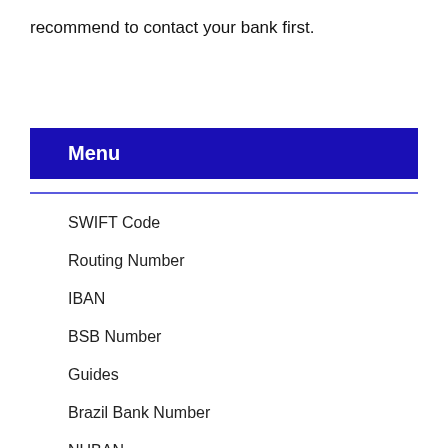recommend to contact your bank first.
Menu
SWIFT Code
Routing Number
IBAN
BSB Number
Guides
Brazil Bank Number
NUBAN
BLZ